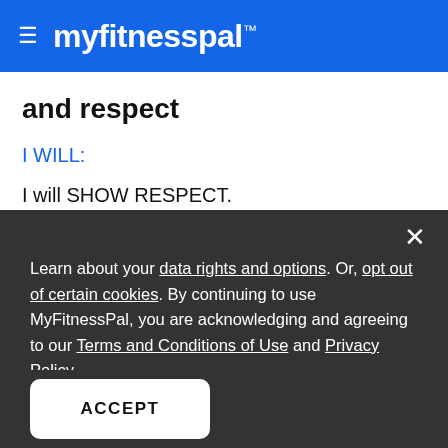≡ myfitnesspal
and respect
I WILL:
I will SHOW RESPECT.
I will show kindness.
I will respect that MyFitnessPal has a zero-tolerance
Learn about your data rights and options. Or, opt out of certain cookies. By continuing to use MyFitnessPal, you are acknowledging and agreeing to our Terms and Conditions of Use and Privacy Policy.
ACCEPT